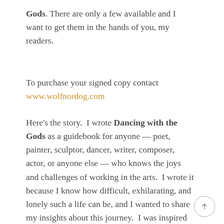Gods. There are only a few available and I want to get them in the hands of you, my readers.
To purchase your signed copy contact www.wolfnordog.com
Here's the story.  I wrote Dancing with the Gods as a guidebook for anyone — poet, painter, sculptor, dancer, writer, composer, actor, or anyone else — who knows the joys and challenges of working in the arts.  I wrote it because I know how difficult, exhilarating, and lonely such a life can be, and I wanted to share my insights about this journey.  I was inspired by the wonderful, seminal book that has influenced so many of